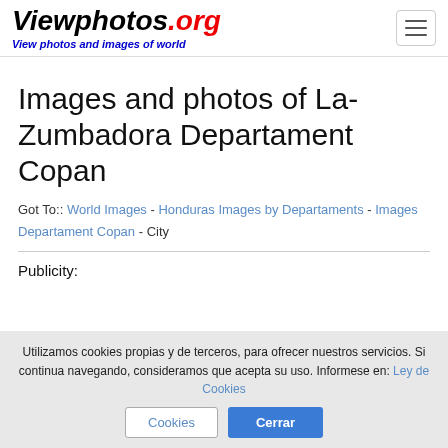Viewphotos.org — View photos and images of world
Images and photos of La-Zumbadora Departament Copan
Got To:: World Images - Honduras Images by Departaments - Images Departament Copan - City
Publicity:
Utilizamos cookies propias y de terceros, para ofrecer nuestros servicios. Si continua navegando, consideramos que acepta su uso. Informese en: Ley de Cookies  Cerrar